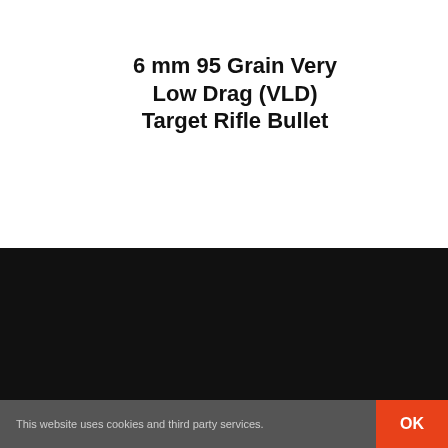6 mm 95 Grain Very Low Drag (VLD) Target Rifle Bullet
[Figure (logo): Berger Bullets logo: stylized yellow B with a bullet and rifle barrel silhouette on black background]
Customer Service
Contact Us
Sponsorship
This website uses cookies and third party services.